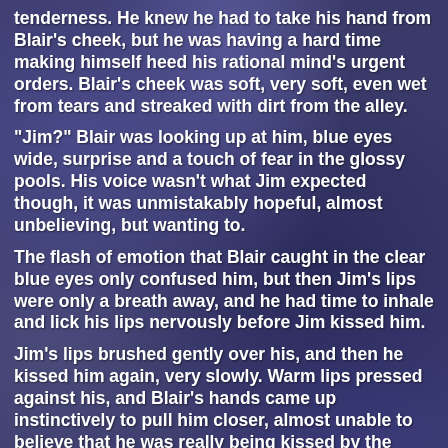tenderness. He knew he had to take his hand from Blair's cheek, but he was having a hard time making himself heed his rational mind's urgent orders. Blair's cheek was soft, very soft, even wet from tears and streaked with dirt from the alley.
"Jim?" Blair was looking up at him, blue eyes wide, surprise and a touch of fear in the glossy pools. His voice wasn't what Jim expected though, it was unmistakably hopeful, almost unbelieving, but wanting to.
The flash of emotion that Blair caught in the clear blue eyes only confused him, but then Jim's lips were only a breath away, and he had time to inhale and lick his lips nervously before Jim kissed him.
Jim's lips brushed gently over his, and then he kissed him again, very slowly. Warm lips pressed against his, and Blair's hands came up instinctively to pull him closer, almost unable to believe that he was really being kissed by the person he wanted most.